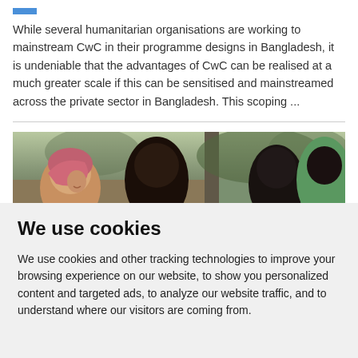While several humanitarian organisations are working to mainstream CwC in their programme designs in Bangladesh, it is undeniable that the advantages of CwC can be realised at a much greater scale if this can be sensitised and mainstreamed across the private sector in Bangladesh. This scoping ...
[Figure (photo): Group of people photographed from behind or side, showing a woman with a headscarf on the left smiling, and others facing away, with a blurred outdoor background.]
We use cookies
We use cookies and other tracking technologies to improve your browsing experience on our website, to show you personalized content and targeted ads, to analyze our website traffic, and to understand where our visitors are coming from.